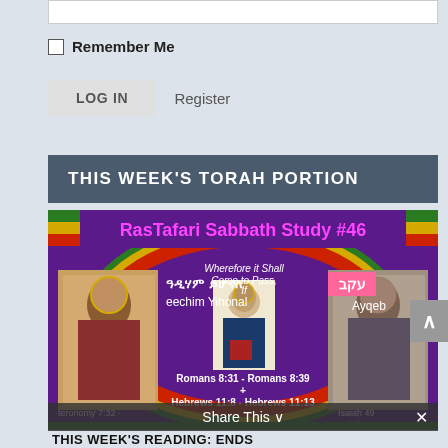(input field)
Remember Me
LOG IN   Register
THIS WEEK'S TORAH PORTION
[Figure (illustration): RasTafari Sabbath Study #46 promotional image with religious icons, text in multiple languages including Amharic and Hebrew, with scripture references: Romans 8:31 - Romans 8:39 + Hebrews 11:8 - Hebrews 11:13, Deuteronomy 7:32 - Deuteronomy 11:25, Isaiah 49, Isaiah (partial). Text includes 'Wherefore it Shall Come to Pass, If', 'eechim Yihonal', 'Ayqeb'.]
Share This
THIS WEEK'S READING: ENDS